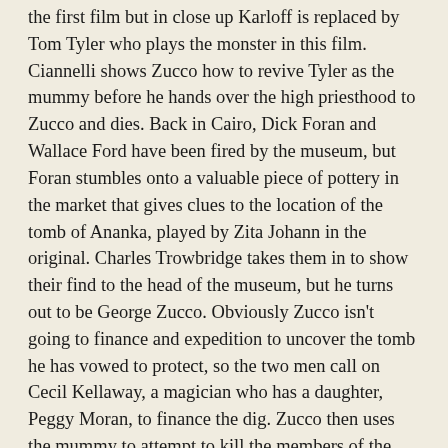the first film but in close up Karloff is replaced by Tom Tyler who plays the monster in this film. Ciannelli shows Zucco how to revive Tyler as the mummy before he hands over the high priesthood to Zucco and dies. Back in Cairo, Dick Foran and Wallace Ford have been fired by the museum, but Foran stumbles onto a valuable piece of pottery in the market that gives clues to the location of the tomb of Ananka, played by Zita Johann in the original. Charles Trowbridge takes them in to show their find to the head of the museum, but he turns out to be George Zucco. Obviously Zucco isn't going to finance and expedition to uncover the tomb he has vowed to protect, so the two men call on Cecil Kellaway, a magician who has a daughter, Peggy Moran, to finance the dig. Zucco then uses the mummy to attempt to kill the members of the expedition before they are able to find the tomb.
Tom Tyler, who was known mostly for westerns, was chosen to play the monster because of a slight resemblance to Karloff, but it would be his only appearance in a Universal horror film as the studio later jettisoned the whole connection to the original film and used Lon Chaney Jr. in subsequent entries for the name recognition. The whole production is a